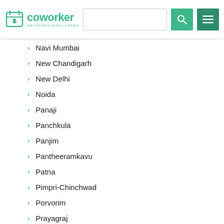coworker — #WORKSPACEDELIVERED
Navi Mumbai
New Chandigarh
New Delhi
Noida
Panaji
Panchkula
Panjim
Pantheeramkavu
Patna
Pimpri-Chinchwad
Porvorim
Prayagraj
Puducherry
Pune
Raipur